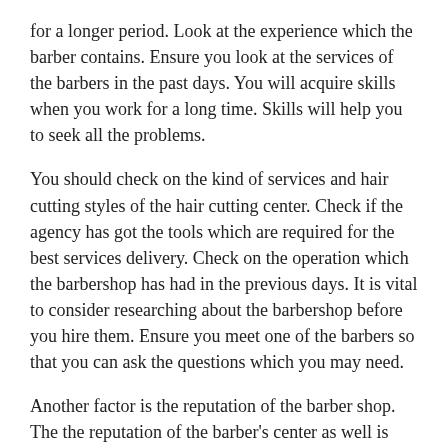for a longer period. Look at the experience which the barber contains. Ensure you look at the services of the barbers in the past days. You will acquire skills when you work for a long time. Skills will help you to seek all the problems.
You should check on the kind of services and hair cutting styles of the hair cutting center. Check if the agency has got the tools which are required for the best services delivery. Check on the operation which the barbershop has had in the previous days. It is vital to consider researching about the barbershop before you hire them. Ensure you meet one of the barbers so that you can ask the questions which you may need.
Another factor is the reputation of the barber shop. The the reputation of the barber's center as well is important. Ensure you choose the barbershop which has a positive reputation. You need to consider the success of the task they have previously done. It is good for you to consider how people are saying about that haircutting center. You will discover